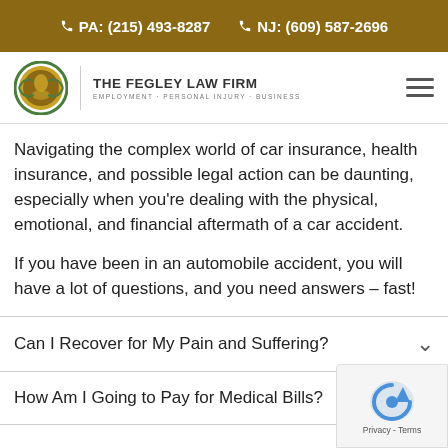PA: (215) 493-8287   NJ: (609) 587-2696
[Figure (logo): The Fegley Law Firm logo with circular emblem and text: THE FEGLEY LAW FIRM, EMPLOYMENT · PERSONAL INJURY · BUSINESS]
Navigating the complex world of car insurance, health insurance, and possible legal action can be daunting, especially when you're dealing with the physical, emotional, and financial aftermath of a car accident.
If you have been in an automobile accident, you will have a lot of questions, and you need answers – fast!
Can I Recover for My Pain and Suffering?
How Am I Going to Pay for Medical Bills?